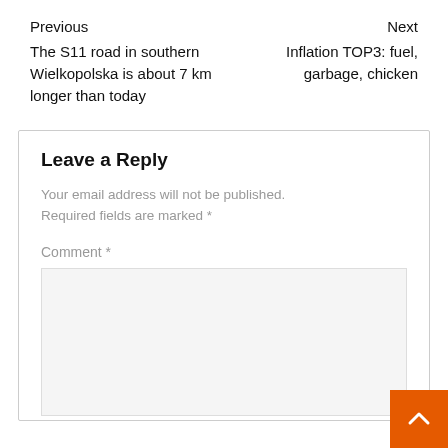Previous
The S11 road in southern Wielkopolska is about 7 km longer than today
Next
Inflation TOP3: fuel, garbage, chicken
Leave a Reply
Your email address will not be published. Required fields are marked *
Comment *